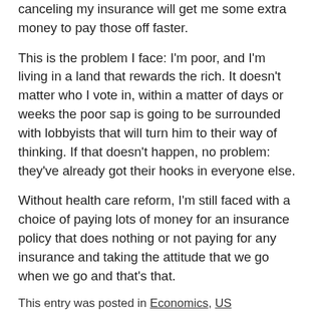canceling my insurance will get me some extra money to pay those off faster.
This is the problem I face: I'm poor, and I'm living in a land that rewards the rich. It doesn't matter who I vote in, within a matter of days or weeks the poor sap is going to be surrounded with lobbyists that will turn him to their way of thinking. If that doesn't happen, no problem: they've already got their hooks in everyone else.
Without health care reform, I'm still faced with a choice of paying lots of money for an insurance policy that does nothing or not paying for any insurance and taking the attitude that we go when we go and that's that.
This entry was posted in Economics, US Government, World Hellhole Report on 11/09/2010 by deanwebb.